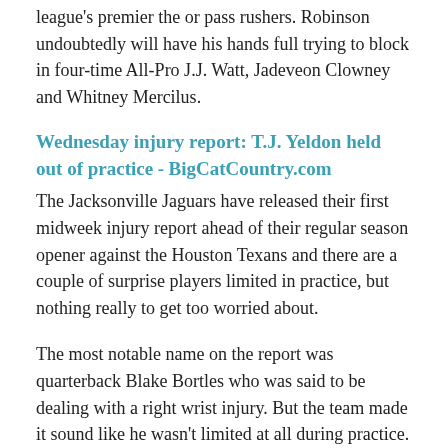league's premier the or pass rushers. Robinson undoubtedly will have his hands full trying to block in four-time All-Pro J.J. Watt, Jadeveon Clowney and Whitney Mercilus.
Wednesday injury report: T.J. Yeldon held out of practice - BigCatCountry.com
The Jacksonville Jaguars have released their first midweek injury report ahead of their regular season opener against the Houston Texans and there are a couple of surprise players limited in practice, but nothing really to get too worried about.
The most notable name on the report was quarterback Blake Bortles who was said to be dealing with a right wrist injury. But the team made it sound like he wasn't limited at all during practice.